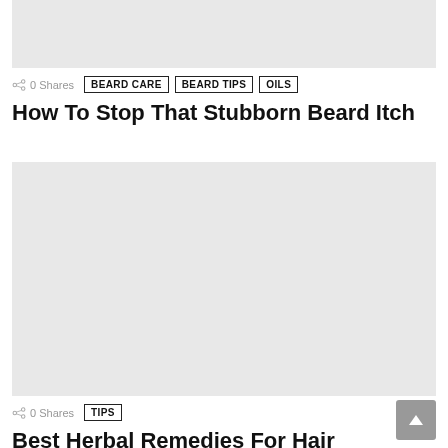[Figure (photo): Placeholder image at top of page, light gray background]
0 Shares
BEARD CARE  BEARD TIPS  OILS
How To Stop That Stubborn Beard Itch
[Figure (photo): Placeholder image in middle of page, light gray background]
0 Shares
TIPS
Best Herbal Remedies For Hair Growth